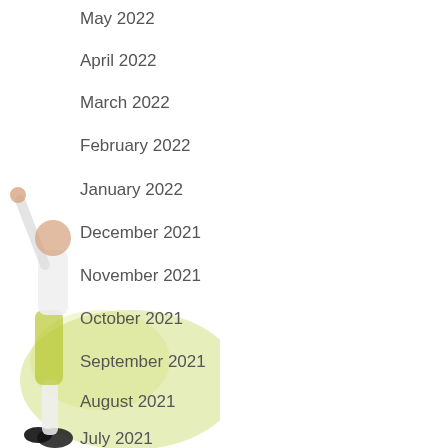[Figure (photo): A person with arm raised, wearing white and yellow-green clothing, partially visible on the left side with a soft green blurred background]
May 2022
April 2022
March 2022
February 2022
January 2022
December 2021
November 2021
October 2021
September 2021
August 2021
July 2021
June 2021